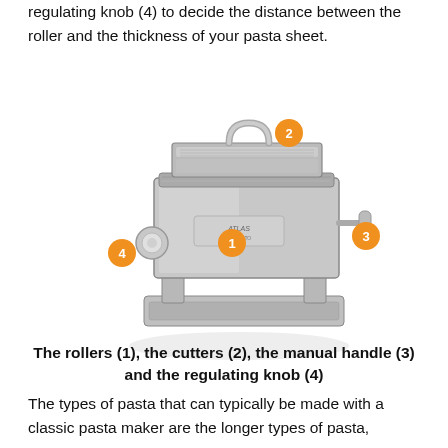regulating knob (4) to decide the distance between the roller and the thickness of your pasta sheet.
[Figure (illustration): Photograph of a stainless steel manual pasta maker (Atlas/Marcato brand) with four numbered orange circle callouts: 1=rollers (front center), 2=cutters (top), 3=manual handle (right side), 4=regulating knob (left side).]
The rollers (1), the cutters (2), the manual handle (3) and the regulating knob (4)
The types of pasta that can typically be made with a classic pasta maker are the longer types of pasta,